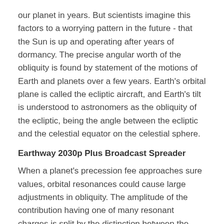our planet in years. But scientists imagine this factors to a worrying pattern in the future - that the Sun is up and operating after years of dormancy. The precise angular worth of the obliquity is found by statement of the motions of Earth and planets over a few years. Earth's orbital plane is called the ecliptic aircraft, and Earth's tilt is understood to astronomers as the obliquity of the ecliptic, being the angle between the ecliptic and the celestial equator on the celestial sphere.
Earthway 2030p Plus Broadcast Spreader
When a planet's precession fee approaches sure values, orbital resonances could cause large adjustments in obliquity. The amplitude of the contribution having one of many resonant charges is split by the distinction between the resonant rate and the precession rate, so it becomes large when the two are comparable. Viewed from one other planet within the photo voltaic system, Earth would seem shiny and bluish in color. Easiest to see through a large telescope can